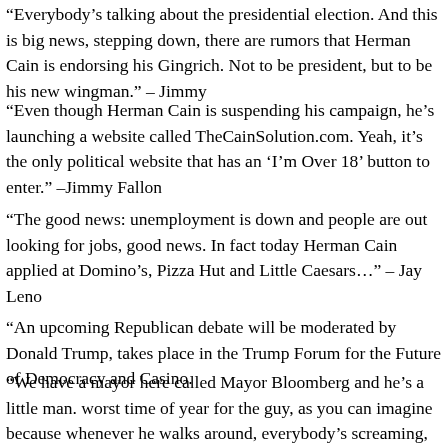“Everybody’s talking about the presidential election. And this is big news, stepping down, there are rumors that Herman Cain is endorsing his Gingrich. Not to be president, but to be his new wingman.” – Jimmy
“Even though Herman Cain is suspending his campaign, he’s launching a website called TheCainSolution.com. Yeah, it’s the only political website that has an ‘I’m Over 18’ button to enter.” –Jimmy Fallon
“The good news: unemployment is down and people are out looking for jobs, good news. In fact today Herman Cain applied at Domino’s, Pizza Hut and Little Caesars…” – Jay Leno
“An upcoming Republican debate will be moderated by Donald Trump, takes place in the Trump Forum for the Future of Democracy and Casino.
“We have a mayor here called Mayor Bloomberg and he’s a little man. worst time of year for the guy, as you can imagine because whenever he walks around, everybody’s screaming, ‘Look, one of Santa’s elves!’” – Da
“President Obama is getting some flak for his planned 17-day Christmas vacation. That’s a long time, 17 days. I mean, even Mary and Joseph only took…